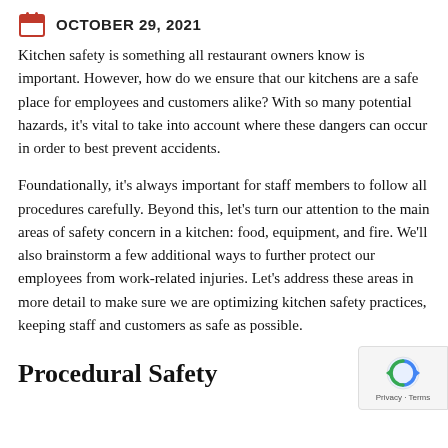OCTOBER 29, 2021
Kitchen safety is something all restaurant owners know is important. However, how do we ensure that our kitchens are a safe place for employees and customers alike? With so many potential hazards, it’s vital to take into account where these dangers can occur in order to best prevent accidents.
Foundationally, it’s always important for staff members to follow all procedures carefully. Beyond this, let’s turn our attention to the main areas of safety concern in a kitchen: food, equipment, and fire. We’ll also brainstorm a few additional ways to further protect our employees from work-related injuries. Let’s address these areas in more detail to make sure we are optimizing kitchen safety practices, keeping staff and customers as safe as possible.
Procedural Safety